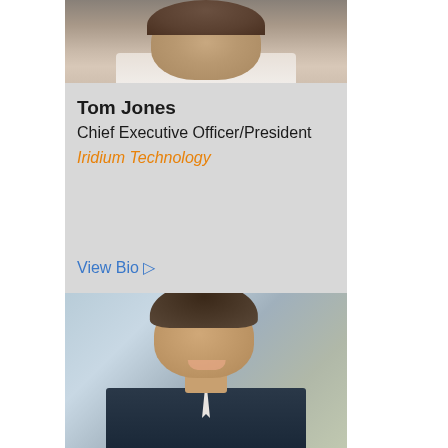[Figure (photo): Headshot photo of Tom Jones, partially cropped at top of page]
Tom Jones
Chief Executive Officer/President
Iridium Technology
View Bio ▷
[Figure (photo): Headshot photo of a man in a suit smiling, blurred building background]